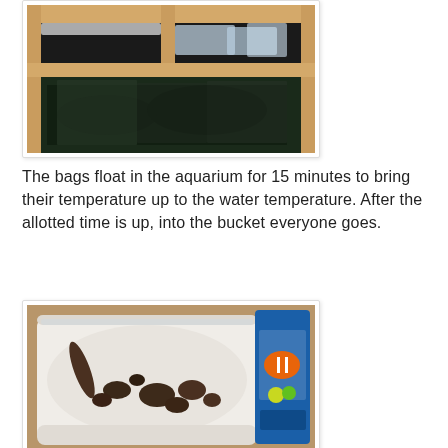[Figure (photo): Photo of an aquarium shelf unit with plastic bags floating inside tanks, wooden frame structure visible]
The bags float in the aquarium for 15 minutes to bring their temperature up to the water temperature. After the allotted time is up, into the bucket everyone goes.
[Figure (photo): Photo of a white bucket/container with various aquatic creatures (snails, slugs, invertebrates) at the bottom, and a blue fish product bottle visible on the right side]